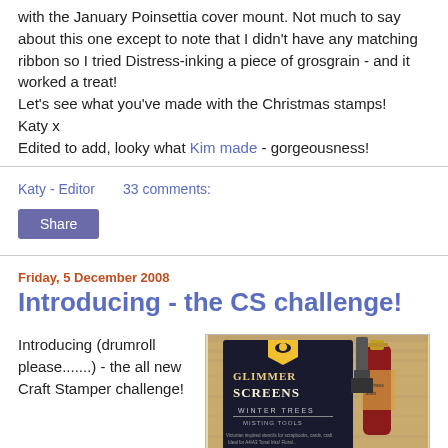with the January Poinsettia cover mount. Not much to say about this one except to note that I didn't have any matching ribbon so I tried Distress-inking a piece of grosgrain - and it worked a treat!
Let's see what you've made with the Christmas stamps!
Katy x
Edited to add, looky what Kim made - gorgeousness!
Katy - Editor    33 comments:
Share
Friday, 5 December 2008
Introducing - the CS challenge!
Introducing (drumroll please.......) - the all new Craft Stamper challenge!
[Figure (photo): Photo of Glimmer Screens Winter Trees product packaging on a wooden surface, with a red bottle and stamp tool]